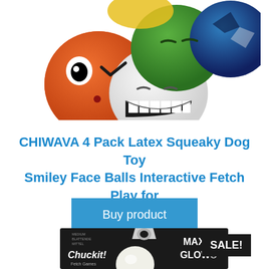[Figure (photo): Four colorful latex squeaky dog toy balls with smiley faces: orange ball with one eye and wink, white ball with big grin, green ball with squinting eyes, and blue/white ball partially visible behind. Arranged in a cluster on white background.]
CHIWAVA 4 Pack Latex Squeaky Dog Toy Smiley Face Balls Interactive Fetch Play for
[Figure (other): Blue 'Buy product' button]
[Figure (photo): Chuckit! Max Glow ball product in black packaging with hang tab. SALE! badge in top right corner. Partial view - bottom portion cut off.]